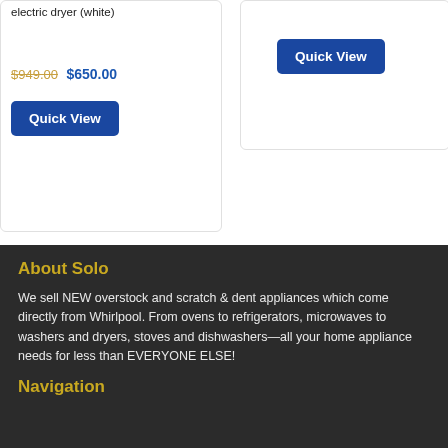electric dryer (white)
$949.00 $650.00
Quick View
Quick View
About Solo
We sell NEW overstock and scratch & dent appliances which come directly from Whirlpool. From ovens to refrigerators, microwaves to washers and dryers, stoves and dishwashers—all your home appliance needs for less than EVERYONE ELSE!
Navigation